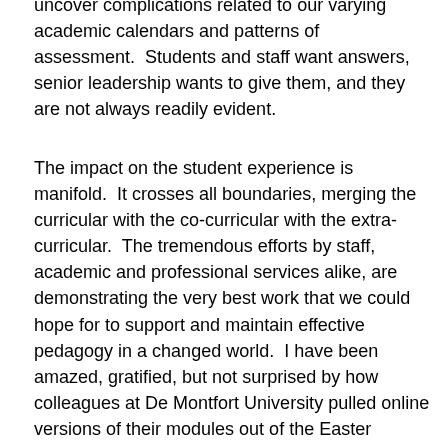uncover complications related to our varying academic calendars and patterns of assessment.  Students and staff want answers, senior leadership wants to give them, and they are not always readily evident.
The impact on the student experience is manifold.  It crosses all boundaries, merging the curricular with the co-curricular with the extra-curricular.  The tremendous efforts by staff, academic and professional services alike, are demonstrating the very best work that we could hope for to support and maintain effective pedagogy in a changed world.  I have been amazed, gratified, but not surprised by how colleagues at De Montfort University pulled online versions of their modules out of the Easter Bunny's top hat within days, and followed that up with a rational and thoughtful revisioning of the upcoming exam period, all in an effort to support our students' learning as much as possible.